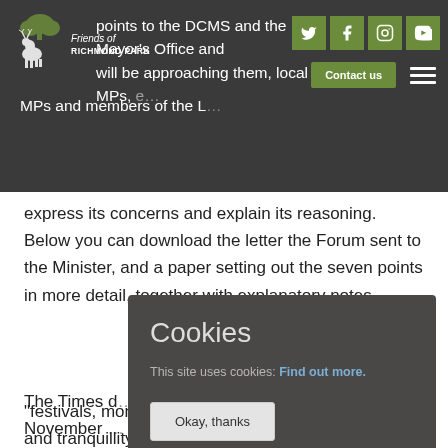Friends of Richmond Park – navigation bar with social icons and Contact us button
points to the DCMS and the Mayor's Office and will be approaching them, local MPs, e… MPs and members of the L…
express its concerns and explain its reasoning. Below you can download the letter the Forum sent to the Minister, and a paper setting out the seven points in more detail, together with explanatory notes.
The Times d… November … The tone of… mongering,… concerned … pointing to… "festivals, monuments and artworks" on the space and tranquillity of the Parks, and arguing that the
Cookies

This site uses cookies: Find out more.

Okay, thanks